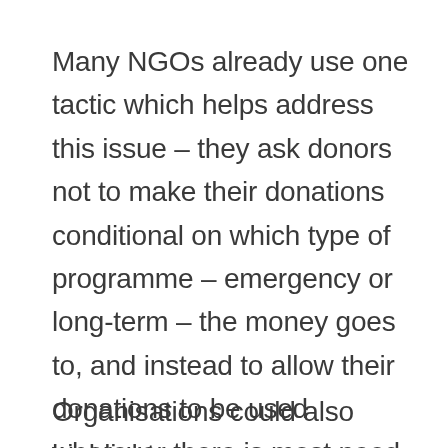Many NGOs already use one tactic which helps address this issue – they ask donors not to make their donations conditional on which type of programme – emergency or long-term – the money goes to, and instead to allow their donations to be used wherever there is most need. This is a sound approach.
Organisations could also highlight